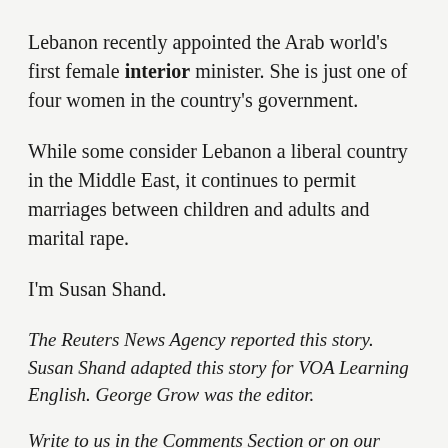Lebanon recently appointed the Arab world's first female interior minister. She is just one of four women in the country's government.
While some consider Lebanon a liberal country in the Middle East, it continues to permit marriages between children and adults and marital rape.
I'm Susan Shand.
The Reuters News Agency reported this story. Susan Shand adapted this story for VOA Learning English. George Grow was the editor.
Write to us in the Comments Section or on our Facebook page.